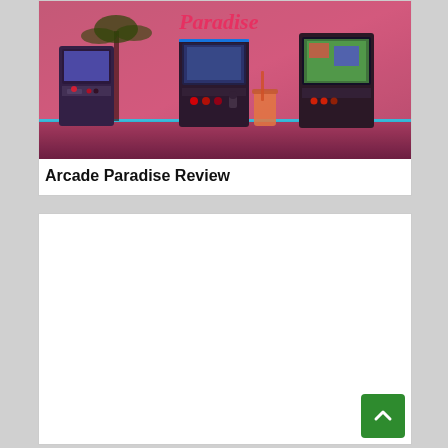[Figure (photo): Arcade game cabinets in a retro neon-lit environment with pink/red lighting and 'Paradise' text visible at top]
Arcade Paradise Review
[Figure (other): White content card area (advertisement or content placeholder), with a green scroll-to-top button in the bottom-right corner]